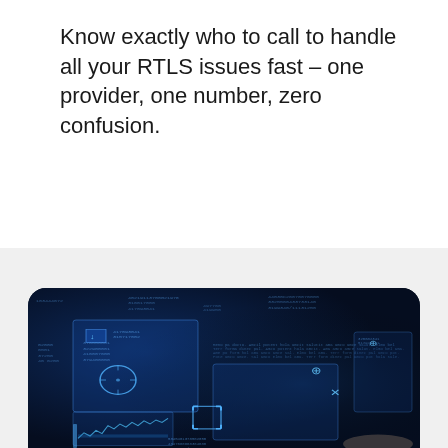Know exactly who to call to handle all your RTLS issues fast – one provider, one number, zero confusion.
[Figure (photo): A futuristic technology interface showing multiple translucent blue glowing digital panels with data, numbers, and UI elements floating over a dark background. A hand is partially visible in the lower right. Various icons including a target circle, crosshairs, plus and X symbols are overlaid on the panels.]